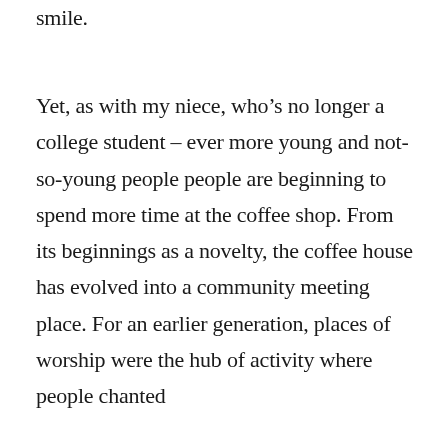smile.
Yet, as with my niece, who’s no longer a college student – ever more young and not-so-young people people are beginning to spend more time at the coffee shop. From its beginnings as a novelty, the coffee house has evolved into a community meeting place. For an earlier generation, places of worship were the hub of activity where people chanted